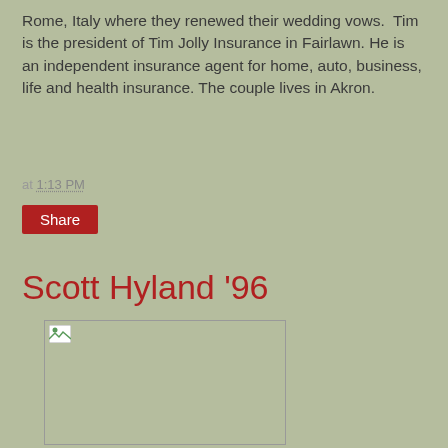Rome, Italy where they renewed their wedding vows. Tim is the president of Tim Jolly Insurance in Fairlawn. He is an independent insurance agent for home, auto, business, life and health insurance. The couple lives in Akron.
at 1:13 PM
Share
Scott Hyland '96
[Figure (photo): Broken/missing image placeholder for Scott Hyland '96]